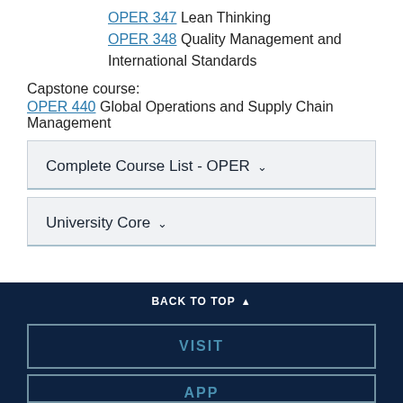OPER 347 Lean Thinking
OPER 348 Quality Management and International Standards
Capstone course:
OPER 440 Global Operations and Supply Chain Management
Complete Course List - OPER ▾
University Core ▾
BACK TO TOP ▲
VISIT
APPLY